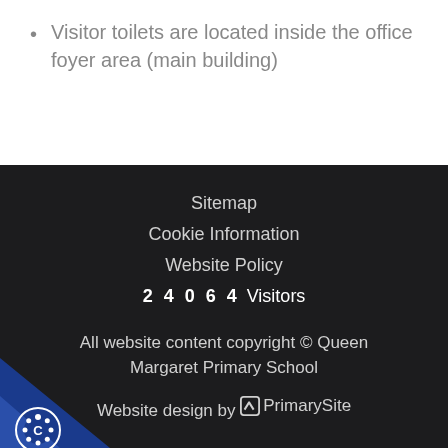Visitor toilets are located inside the office foyer area (main building)
Sitemap
Cookie Information
Website Policy
24064 Visitors
All website content copyright © Queen Margaret Primary School
Website design by PrimarySite